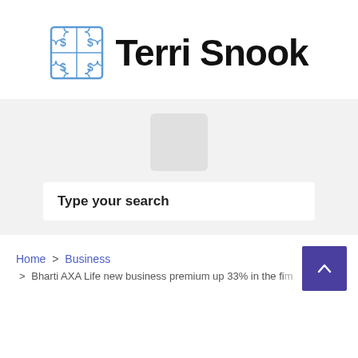[Figure (logo): Terri Snook logo with a puzzle piece icon containing dollar signs and the text Terri Snook in bold]
[Figure (other): Gray placeholder box in a light gray background section]
Type your search
Home > Business > Bharti AXA Life new business premium up 33% in the fi...